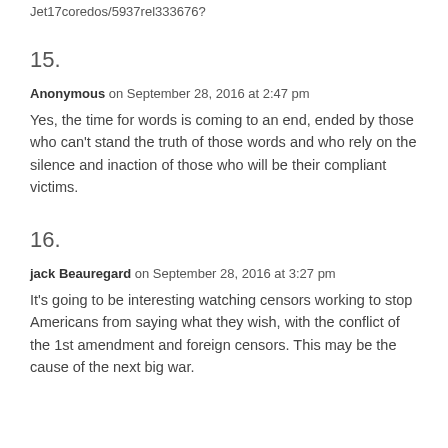Jet17coredos/5937rel333676?
15.
Anonymous on September 28, 2016 at 2:47 pm
Yes, the time for words is coming to an end, ended by those who can't stand the truth of those words and who rely on the silence and inaction of those who will be their compliant victims.
16.
jack Beauregard on September 28, 2016 at 3:27 pm
It's going to be interesting watching censors working to stop Americans from saying what they wish, with the conflict of the 1st amendment and foreign censors. This may be the cause of the next big war.